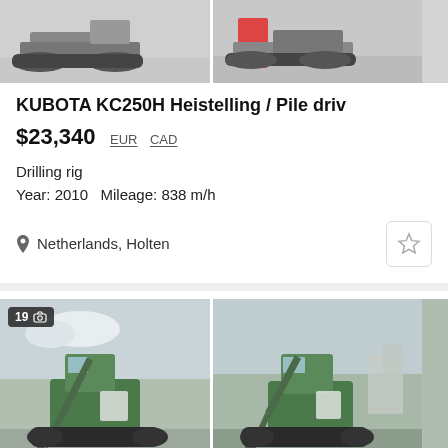[Figure (photo): Two crawler-type construction machines (pile drivers / drilling rigs) shown in thumbnail photos at top of listing page]
KUBOTA KC250H Heistelling / Pile driv
$23,340  EUR  CAD
Drilling rig
Year: 2010   Mileage: 838 m/h
Netherlands, Holten
[Figure (photo): Two photos of a green Kubota mini excavator shown at bottom of page, with '19' photo count badge on first image]